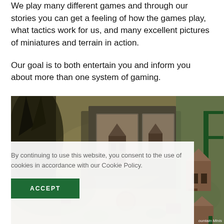We play many different games and through our stories you can get a feeling of how the games play, what tactics work for us, and many excellent pictures of miniatures and terrain in action.
Our goal is to both entertain you and inform you about more than one system of gaming.
[Figure (photo): Overhead view of a tabletop wargame in progress showing miniature terrain pieces including buildings, trees, and scenic game boards with cards/tiles.]
By continuing to use this website, you consent to the use of cookies in accordance with our Cookie Policy.
ACCEPT